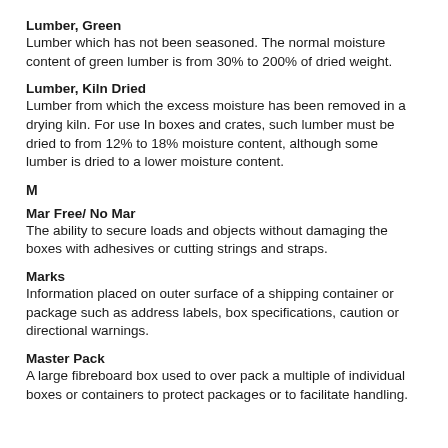Lumber, Green
Lumber which has not been seasoned. The normal moisture content of green lumber is from 30% to 200% of dried weight.
Lumber, Kiln Dried
Lumber from which the excess moisture has been removed in a drying kiln. For use In boxes and crates, such lumber must be dried to from 12% to 18% moisture content, although some lumber is dried to a lower moisture content.
M
Mar Free/ No Mar
The ability to secure loads and objects without damaging the boxes with adhesives or cutting strings and straps.
Marks
Information placed on outer surface of a shipping container or package such as address labels, box specifications, caution or directional warnings.
Master Pack
A large fibreboard box used to over pack a multiple of individual boxes or containers to protect packages or to facilitate handling.